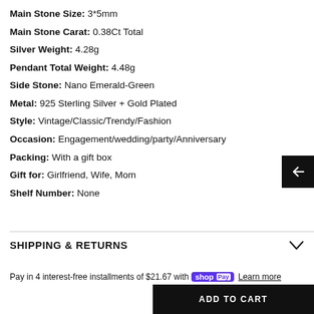Main Stone Size: 3*5mm
Main Stone Carat: 0.38Ct Total
Silver Weight: 4.28g
Pendant Total Weight: 4.48g
Side Stone: Nano Emerald-Green
Metal: 925 Sterling Silver + Gold Plated
Style: Vintage/Classic/Trendy/Fashion
Occasion: Engagement/wedding/party/Anniversary
Packing: With a gift box
Gift for: Girlfriend, Wife, Mom
Shelf Number: None
SHIPPING & RETURNS
Pay in 4 interest-free installments of $21.67 with shop Pay Learn more
ADD TO CART